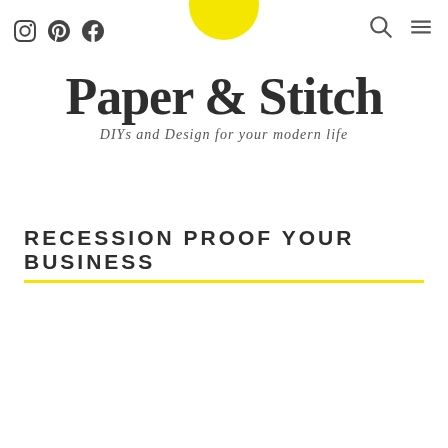Paper & Stitch — DIYs and Design for your modern life
RECESSION PROOF YOUR BUSINESS